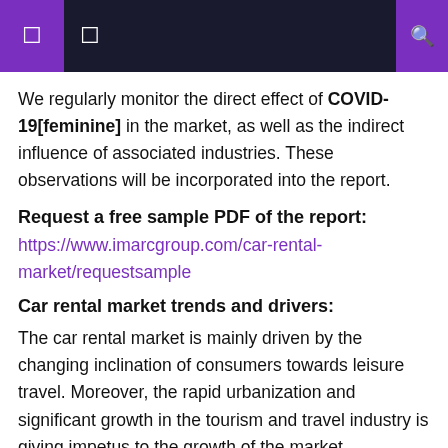We regularly monitor the direct effect of COVID-19[feminine] in the market, as well as the indirect influence of associated industries. These observations will be incorporated into the report.
Request a free sample PDF of the report:
https://www.imarcgroup.com/car-rental-market/requestsample
Car rental market trends and drivers:
The car rental market is mainly driven by the changing inclination of consumers towards leisure travel. Moreover, the rapid urbanization and significant growth in the tourism and travel industry is giving impetus to the growth of the market. Favorable government policies and growing consumer awareness for energy conservation are factors